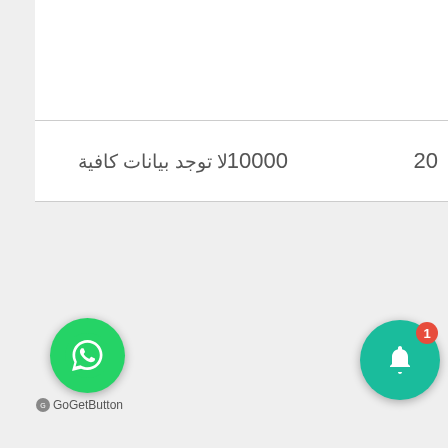| 20 | 10000 | لا توجد بيانات كافية |
[Figure (logo): WhatsApp GetButton green circular icon with white WhatsApp logo]
GoGetButton
[Figure (other): Green circular notification bell button with red badge showing 1]